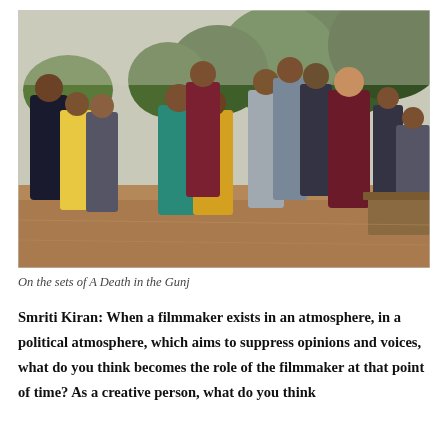[Figure (photo): Group photo of people standing outdoors on the sets of a film. Several people wearing sunglasses, some in traditional Indian attire (sarees), others in casual Western clothing. Trees visible in the background.]
On the sets of A Death in the Gunj
Smriti Kiran: When a filmmaker exists in an atmosphere, in a political atmosphere, which aims to suppress opinions and voices, what do you think becomes the role of the filmmaker at that point of time? As a creative person, what do you think